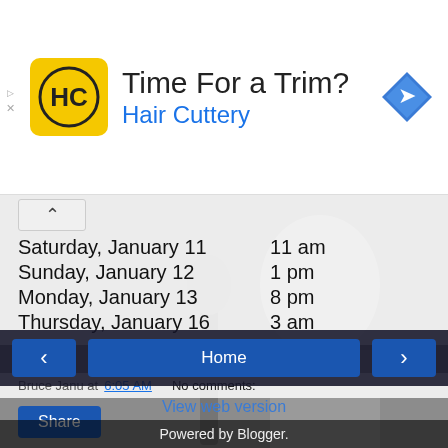[Figure (other): Hair Cuttery advertisement banner with logo (yellow square with HC initials), text 'Time For a Trim?' and 'Hair Cuttery', and a blue diamond navigation icon on the right. Small play and X icons on the left edge.]
| Date | Time |
| --- | --- |
| Saturday, January 11 | 11 am |
| Sunday, January 12 | 1 pm |
| Monday, January 13 | 8 pm |
| Thursday, January 16 | 3 am |
Bruce Janu at 6:05 AM   No comments:
Share
Home
View web version
Powered by Blogger.